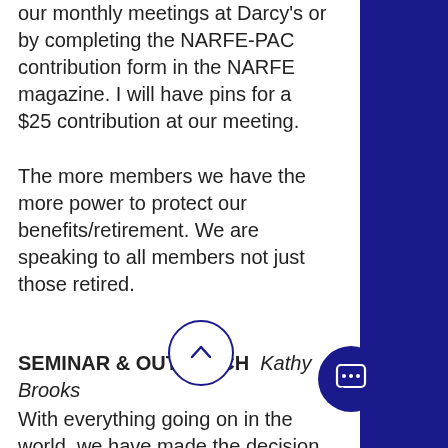our monthly meetings at Darcy's or by completing the NARFE-PAC contribution form in the NARFE magazine. I will have pins for a $25 contribution at our meeting.
The more members we have the more power to protect our benefits/retirement. We are speaking to all members not just those retired.
SEMINAR & OUTREACH  Kathy Brooks
With everything going on in the world, we have made the decision to postpone the Pre-Retirement Seminar until this Fall. If you are aware of anyone interested in attending, please let know.